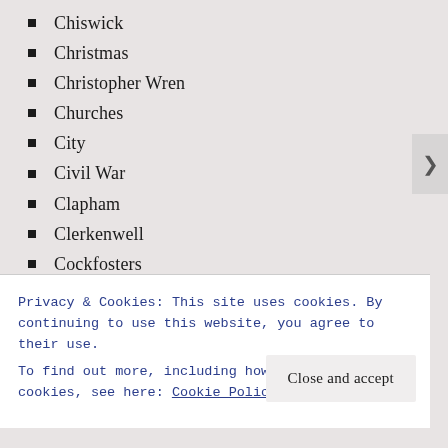Chiswick
Christmas
Christopher Wren
Churches
City
Civil War
Clapham
Clerkenwell
Cockfosters
Commonwealth
coronavirus pandemic
Covent Garden
Croydon
Dagenham
Privacy & Cookies: This site uses cookies. By continuing to use this website, you agree to their use.
To find out more, including how to control cookies, see here: Cookie Policy
Close and accept